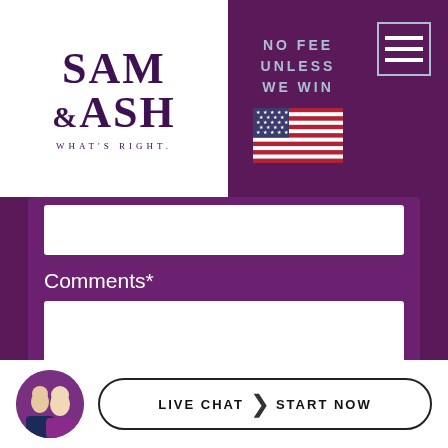[Figure (screenshot): Law firm website header with SAM & ASH logo on white background, 'NO FEE UNLESS WE WIN' text with US flag, and hamburger menu icon]
Comments*
[Figure (screenshot): reCAPTCHA widget with checkbox and 'I'm not a robot' text]
LIVE CHAT | START NOW